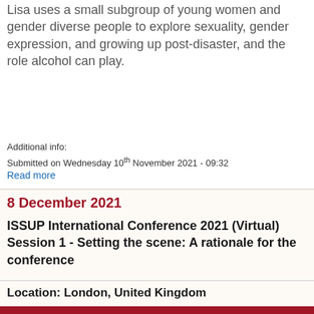Lisa uses a small subgroup of young women and gender diverse people to explore sexuality, gender expression, and growing up post-disaster, and the role alcohol can play.
Additional info:
Submitted on Wednesday 10th November 2021 - 09:32
Read more
8 December 2021
ISSUP International Conference 2021 (Virtual) Session 1 - Setting the scene: A rationale for the conference
Location: London, United Kingdom